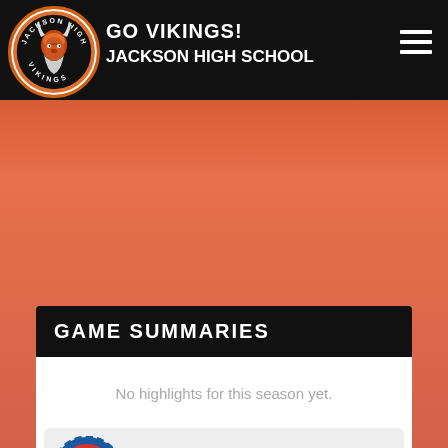GO VIKINGS! JACKSON HIGH SCHOOL
GAME SUMMARIES
No highlights for this season yet.
[Figure (logo): Jackson High School Vikings official merchandise promotional block with OFFICIAL badge, JACKSON VIKINGS FOOTBALL CUSTOM PRODUCTS text and VISIT STORE button]